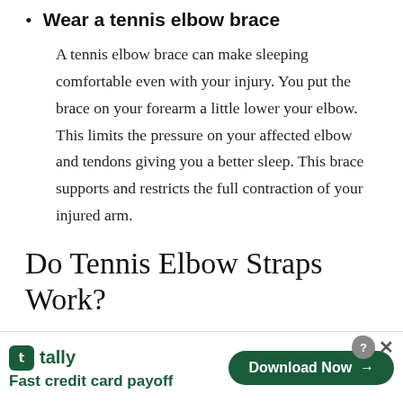Wear a tennis elbow brace — A tennis elbow brace can make sleeping comfortable even with your injury. You put the brace on your forearm a little lower your elbow. This limits the pressure on your affected elbow and tendons giving you a better sleep. This brace supports and restricts the full contraction of your injured arm.
Do Tennis Elbow Straps Work?